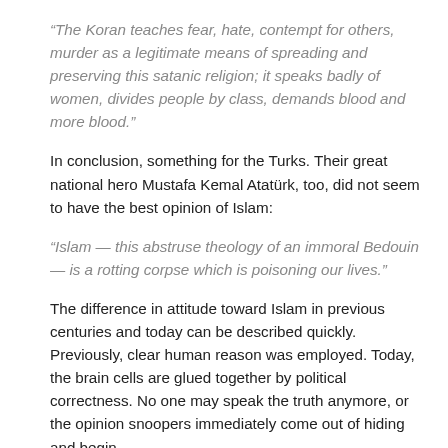“The Koran teaches fear, hate, contempt for others, murder as a legitimate means of spreading and preserving this satanic religion; it speaks badly of women, divides people by class, demands blood and more blood.”
In conclusion, something for the Turks. Their great national hero Mustafa Kemal Atatürk, too, did not seem to have the best opinion of Islam:
“Islam — this abstruse theology of an immoral Bedouin — is a rotting corpse which is poisoning our lives.”
The difference in attitude toward Islam in previous centuries and today can be described quickly. Previously, clear human reason was employed. Today, the brain cells are glued together by political correctness. No one may speak the truth anymore, or the opinion snoopers immediately come out of hiding and begin